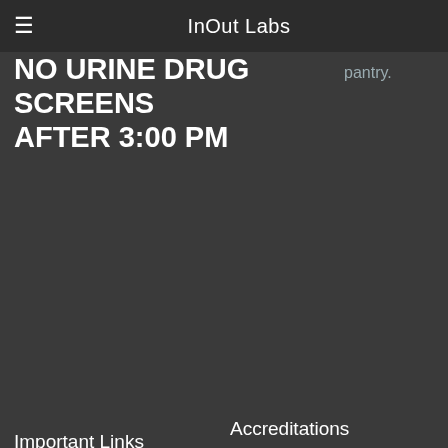InOut Labs
NO URINE DRUG SCREENS AFTER 3:00 PM
pantry.
Important Links
Drug Test Portal
Client Forms
Resources
Terms of Use
Clearinghouse
Support Terms & Conditions
Accreditations
[Figure (logo): BBB Accredited Business badge with rating A+ as of 6/4/2021]
[Figure (logo): Goldman Sachs 10,000 Small Businesses Alumni badge]
Leave us a Review
[Figure (screenshot): Submit button and review icon]